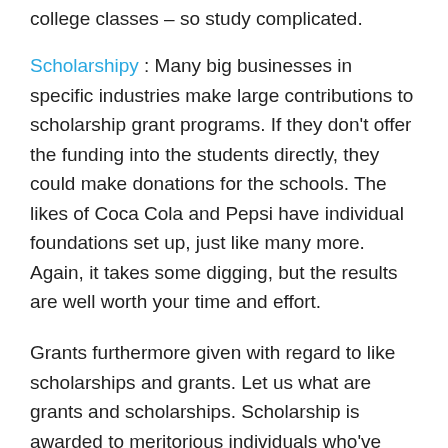college classes – so study complicated.
Scholarshipy : Many big businesses in specific industries make large contributions to scholarship grant programs. If they don't offer the funding into the students directly, they could make donations for the schools. The likes of Coca Cola and Pepsi have individual foundations set up, just like many more. Again, it takes some digging, but the results are well worth your time and effort.
Grants furthermore given with regard to like scholarships and grants. Let us what are grants and scholarships. Scholarship is awarded to meritorious individuals who've applied for a similar. Normally, scholarships also primarily be financially based...